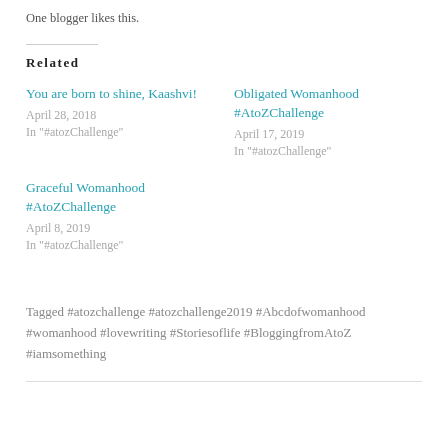One blogger likes this.
Related
You are born to shine, Kaashvi!
April 28, 2018
In "#atozChallenge"
Obligated Womanhood #AtoZChallenge
April 17, 2019
In "#atozChallenge"
Graceful Womanhood #AtoZChallenge
April 8, 2019
In "#atozChallenge"
Tagged #atozchallenge #atozchallenge2019 #Abcdofwomanhood #womanhood #lovewriting #Storiesoflife #BloggingfromAtoZ #iamsomething